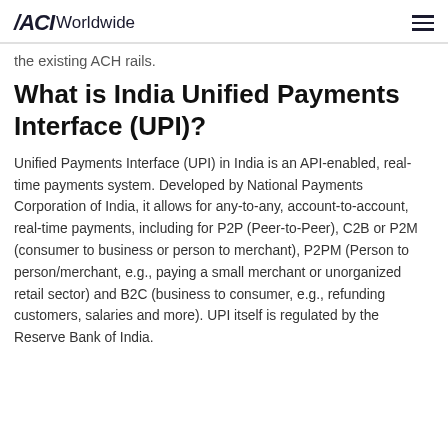ACI Worldwide
the existing ACH rails.
What is India Unified Payments Interface (UPI)?
Unified Payments Interface (UPI) in India is an API-enabled, real-time payments system. Developed by National Payments Corporation of India, it allows for any-to-any, account-to-account, real-time payments, including for P2P (Peer-to-Peer), C2B or P2M (consumer to business or person to merchant), P2PM (Person to person/merchant, e.g., paying a small merchant or unorganized retail sector) and B2C (business to consumer, e.g., refunding customers, salaries and more). UPI itself is regulated by the Reserve Bank of India.